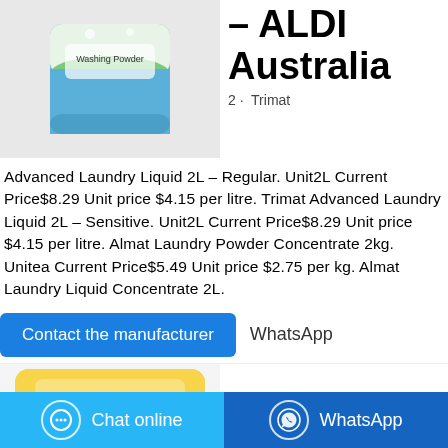[Figure (photo): Washing powder product bag - laundry detergent with green and blue design]
- ALDI Australia
2 ·  Trimat
Advanced Laundry Liquid 2L – Regular. Unit2L Current Price$8.29 Unit price $4.15 per litre. Trimat Advanced Laundry Liquid 2L – Sensitive. Unit2L Current Price$8.29 Unit price $4.15 per litre. Almat Laundry Powder Concentrate 2kg. Unitea Current Price$5.49 Unit price $2.75 per kg. Almat Laundry Liquid Concentrate 2L.
Contact the manufacturer
WhatsApp
[Figure (photo): Yellow laundry detergent stain remover product bag]
Laundry Detergent
Chat online
WhatsApp